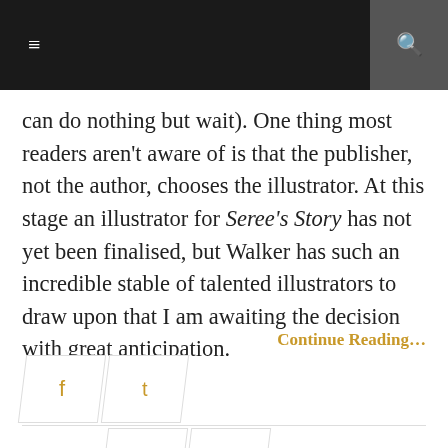≡  🔍
can do nothing but wait). One thing most readers aren't aware of is that the publisher, not the author, chooses the illustrator. At this stage an illustrator for Seree's Story has not yet been finalised, but Walker has such an incredible stable of talented illustrators to draw upon that I am awaiting the decision with great anticipation.
Continue Reading…
[Figure (other): Social sharing buttons: Facebook, Twitter, Pinterest, Google+]